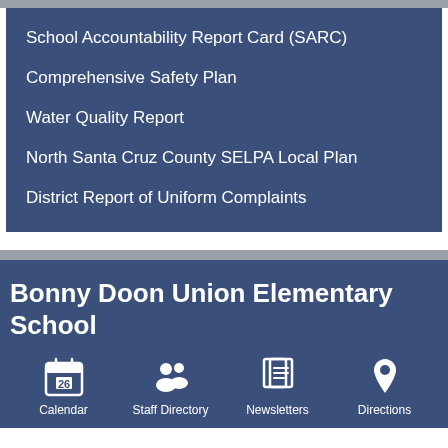School Accountability Report Card (SARC)
Comprehensive Safety Plan
Water Quality Report
North Santa Cruz County SELPA Local Plan
District Report of Uniform Complaints
Bonny Doon Union Elementary School
Calendar
Staff Directory
Newsletters
Directions